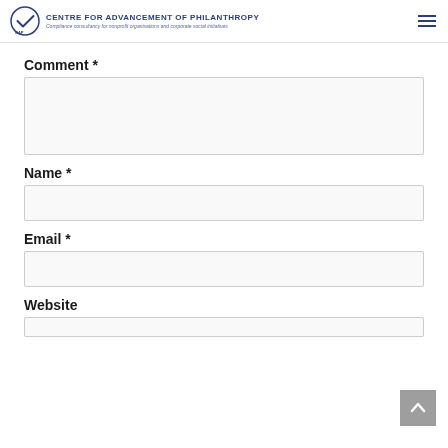Centre for Advancement of Philanthropy — Compliance consultancy for nonprofit organisations and corporate social initiatives
Comment *
[Comment input field]
Name *
[Name input field]
Email *
[Email input field]
Website
[Website input field]